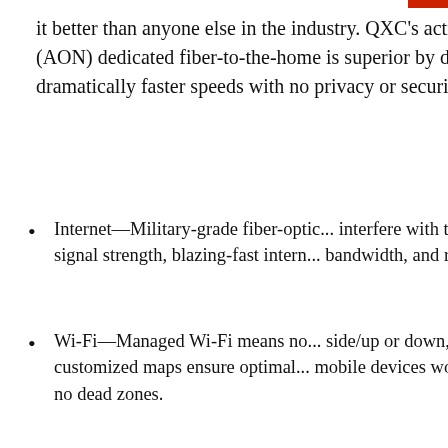it better than anyone else in the industry. QXC's active optical network (AON) dedicated fiber-to-the-home is superior by design, delivering dramatically faster speeds with no privacy or security risks.
Internet—Military-grade fiber-optic... interfere with the connection, so y... signal strength, blazing-fast intern... bandwidth, and robust security.
Wi-Fi—Managed Wi-Fi means no... side/up or down, share the same c... customized maps ensure optimal... mobile devices work when and wh... to—no dead zones.
Digital Voice—VoIP phone service... connection—typically a fraction of t...
[Figure (other): Subscription modal popup with title 'ONLY $1.67 AN ISSUE!', a magazine cover image, subscription call-to-action text 'WHEN YOU SUBSCRIBE TODAY', and a SUBSCRIBE button. A close (X) button appears in the top-right corner.]